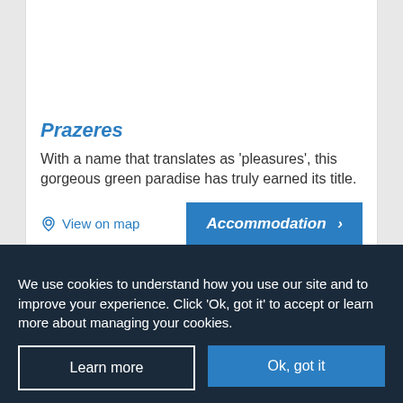Prazeres
With a name that translates as 'pleasures', this gorgeous green paradise has truly earned its title.
View on map
Accommodation ›
Things to do
Show all (94) ›
We use cookies to understand how you use our site and to improve your experience. Click 'Ok, got it' to accept or learn more about managing your cookies.
Learn more
Ok, got it